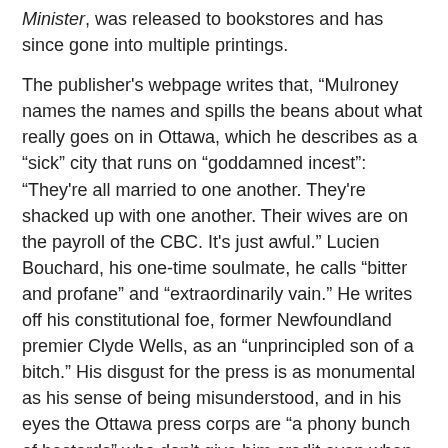Minister, was released to bookstores and has since gone into multiple printings.
The publisher's webpage writes that, "Mulroney names the names and spills the beans about what really goes on in Ottawa, which he describes as a "sick" city that runs on "goddamned incest": "They're all married to one another. They're shacked up with one another. Their wives are on the payroll of the CBC. It's just awful." Lucien Bouchard, his one-time soulmate, he calls "bitter and profane" and "extraordinarily vain." He writes off his constitutional foe, former Newfoundland premier Clyde Wells, as an "unprincipled son of a bitch." His disgust for the press is as monumental as his sense of being misunderstood, and in his eyes the Ottawa press corps are "a phony bunch of bastards" who don't give him credit even when the world applauds him for being "one of the three men who played the most important role in the collapse of the Berlin Wall."
Oh yeah... if you download the book's index (.pdf file) that Random House conveniently provides it's website you will note that a reference to Charles Gordon appears on page